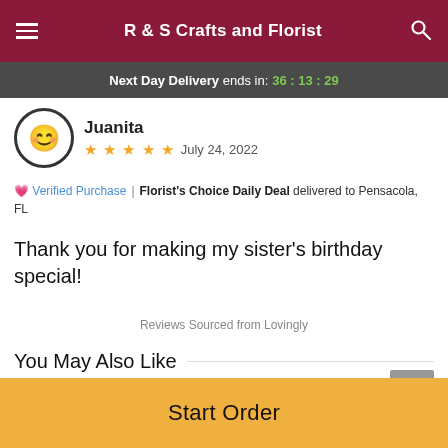R & S Crafts and Florist
Next Day Delivery ends in: 36:13:29
Juanita
★★★★★  July 24, 2022
💗 Verified Purchase | Florist's Choice Daily Deal delivered to Pensacola, FL
Thank you for making my sister's birthday special!
Reviews Sourced from Lovingly
You May Also Like
[Figure (photo): Flower arrangement product thumbnail]
[Figure (photo): Candles product thumbnail]
Start Order